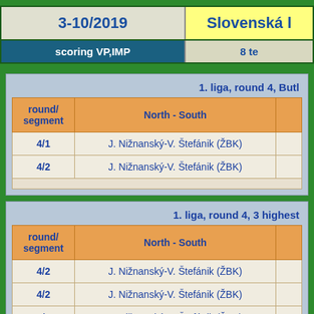| 3-10/2019 | Slovenská l... |
| --- | --- |
| scoring VP,IMP | 8 te... |
1. liga, round 4, Butl...
| round/segment | North - South |  |
| --- | --- | --- |
| 4/1 | J. Nižnanský-V. Štefánik (ŽBK) |  |
| 4/2 | J. Nižnanský-V. Štefánik (ŽBK) |  |
1. liga, round 4, 3 highest...
| round/segment | North - South |  |
| --- | --- | --- |
| 4/2 | J. Nižnanský-V. Štefánik (ŽBK) |  |
| 4/2 | J. Nižnanský-V. Štefánik (ŽBK) |  |
| 4/1 | J. Nižnanský-V. Štefánik (ŽBK) |  |